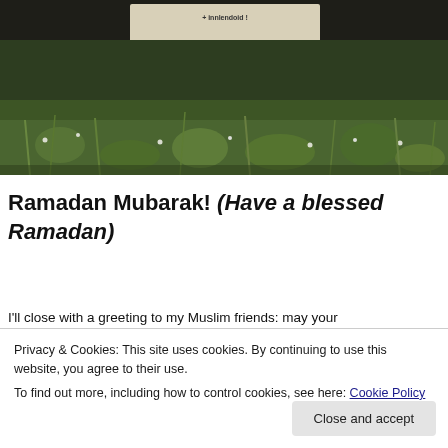[Figure (photo): Outdoor photo of a billboard structure on metal supports, surrounded by tall wild grass, weeds, and green foliage. The billboard has white text partially visible at the top. Dark treeline in the background.]
Ramadan Mubarak!  (Have a blessed Ramadan)
I'll close with a greeting to my Muslim friends: may your
Privacy & Cookies: This site uses cookies. By continuing to use this website, you agree to their use.
To find out more, including how to control cookies, see here: Cookie Policy
Close and accept